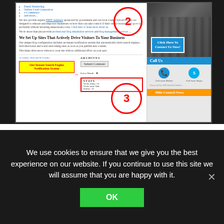[Figure (screenshot): Screenshot of a website showing blog services content with bullet points for Online Lead Generation, e-Commerce, and more. Includes numbered callout circles 2 and 3 in red, a sidebar with a 'Click Here To Contact Us Now!' button, Call Us section with mobile and Skype icons, and an RSS feed area. The bottom portion shows a blog post with a yellow 'Our Instant Search Engine Notification System' box and a stats box.]
If you took a look inside the example site's Widget area, you would see that these features display on the site's sidebar section in exactly
We use cookies to ensure that we give you the best experience on our website. If you continue to use this site we will assume that you are happy with it.